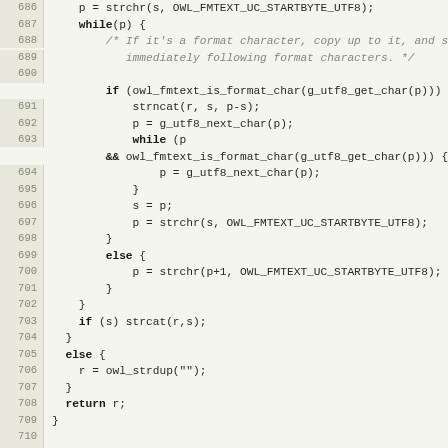[Figure (screenshot): Source code listing in C, lines 686-713, showing string manipulation functions with format character handling. Dark text on light beige/cream background with line numbers in left gutter.]